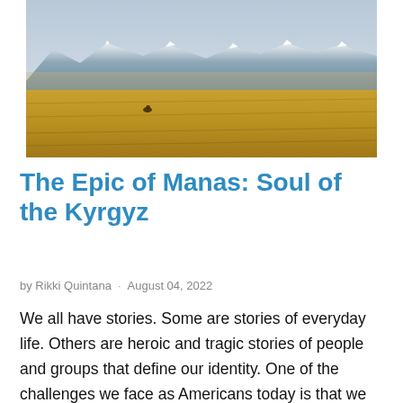[Figure (photo): A wide open golden steppe landscape with a lone horse rider in the middle distance, snow-capped mountains visible in the background under a hazy sky.]
The Epic of Manas: Soul of the Kyrgyz
by Rikki Quintana · August 04, 2022
We all have stories. Some are stories of everyday life. Others are heroic and tragic stories of people and groups that define our identity. One of the challenges we face as Americans today is that we don't have an agreed collective story of identity. Instead, we have multiple stories of individuals and